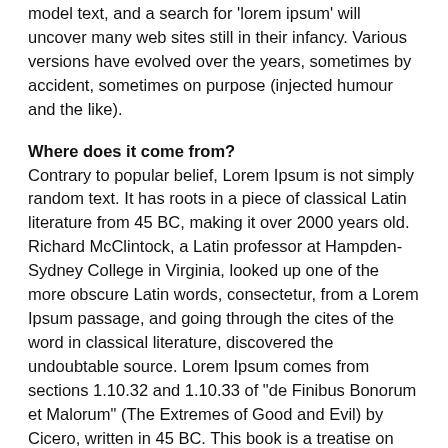model text, and a search for 'lorem ipsum' will uncover many web sites still in their infancy. Various versions have evolved over the years, sometimes by accident, sometimes on purpose (injected humour and the like).
Where does it come from?
Contrary to popular belief, Lorem Ipsum is not simply random text. It has roots in a piece of classical Latin literature from 45 BC, making it over 2000 years old. Richard McClintock, a Latin professor at Hampden-Sydney College in Virginia, looked up one of the more obscure Latin words, consectetur, from a Lorem Ipsum passage, and going through the cites of the word in classical literature, discovered the undoubtable source. Lorem Ipsum comes from sections 1.10.32 and 1.10.33 of "de Finibus Bonorum et Malorum" (The Extremes of Good and Evil) by Cicero, written in 45 BC. This book is a treatise on the theory of ethics, very popular during the Renaissance. The first line of Lorem Ipsum, "Lorem ipsum dolor sit amet..", comes from a line in section 1.10.32